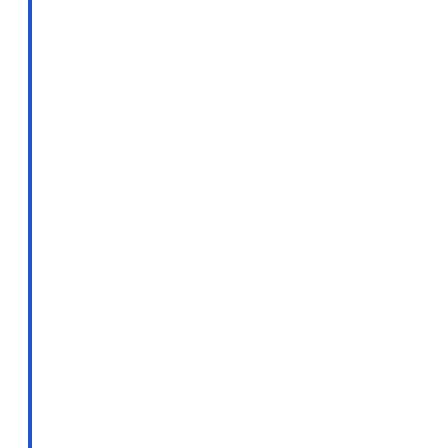blueprints they would need to recognize the celestial signs identifying the time of Christ in 3-2 BC, but they also set the pattern of Total Blood Moon Lunar ecl... victorious return of Christ. The fact that the signs of this dress rehearsal unfol... excess of two years was also a clue of what to expect, when the curtain actua... celestial pageantry of the birth of Christ. With a period of exactly 2 years from... to Sept. 15th of 5 BC as seen in the chart above, setting the stage for two Ju... Conjunctions bracketing the heavenly signs marking the actual birth of Chris... 31st, 3BC and Aug. 21st of 1 BC, we can see how the Magi would recognize... markers leading them to the promised seed-Jesus Christ. Also, the fact that... all occur in Pisces, is interesting due in part to an ancient eastern tradition, th... sign of Pisces, the fishes presided over the land surrounding and including Is... that Pisces symbolized the House of Jacob, and with the obvious presence o... Jupiter, would spell out why the Magi came to Jerusalem looking for the Kin... relationship of Jupiter-Saturn heavenly signs related to Israel stretched bac... include the births of Abraham and Moses. In the following reference to Jupiter... related to the birth of Moses, R.H. Allen has probably isolated a quote from Ab... by Kepler;
"The Rabbis held a tradition, recorded by Abrabanel in the 15th Century, that Conjunction took place three years previous to the birth of Moses, and the another at their Messiah's advent."7 [emphasis mine]
The Triple Planetary Conjunction of Jupiter-Saturn in 7 -6 BC
A major contemporary proponent of the 7-6 BC triple Conjunction of Jupiter- the actual time of Jesus' birth is David Hughes. He is convinced that Jesus w...